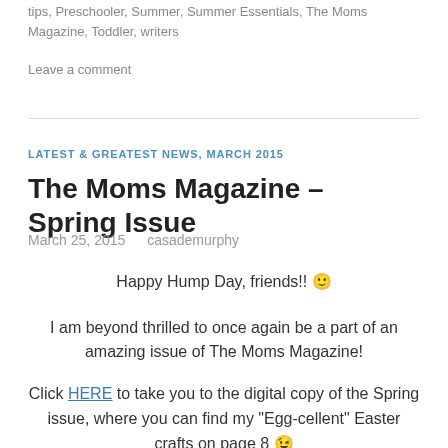tips, Preschooler, Summer, Summer Essentials, The Moms Magazine, Toddler, writers
Leave a comment
LATEST & GREATEST NEWS, MARCH 2015
The Moms Magazine – Spring Issue
March 25, 2015   casademurphy
Happy Hump Day, friends!! 🙂
I am beyond thrilled to once again be a part of an amazing issue of The Moms Magazine!
Click HERE to take you to the digital copy of the Spring issue, where you can find my "Egg-cellent" Easter crafts on page 8 😉